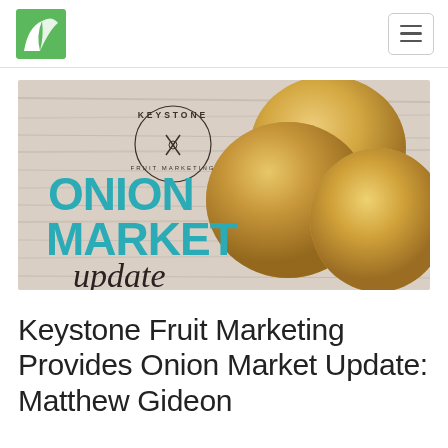Keystone Fruit Marketing – site header with logo and navigation menu
[Figure (photo): Banner image for Keystone Fruit Marketing Onion Market Update. Left side shows the Keystone Fruit Marketing circular logo and bold teal text reading 'ONION MARKET update' on a light wood-grain background. Right side shows three large yellow/golden onions on the same wooden surface.]
Keystone Fruit Marketing Provides Onion Market Update: Matthew Gideon